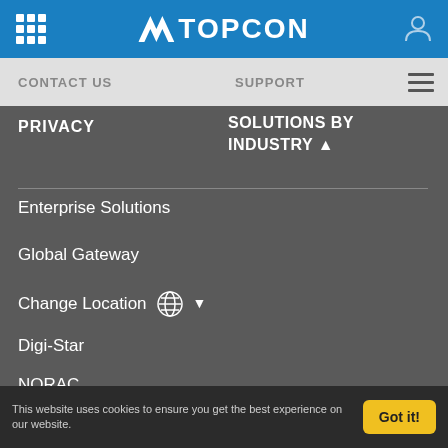TOPCON
CONTACT US
SUPPORT
PRIVACY
SOLUTIONS BY INDUSTRY
Enterprise Solutions
Global Gateway
Change Location
Digi-Star
NORAC
RDS Technology
This website uses cookies to ensure you get the best experience on our website.